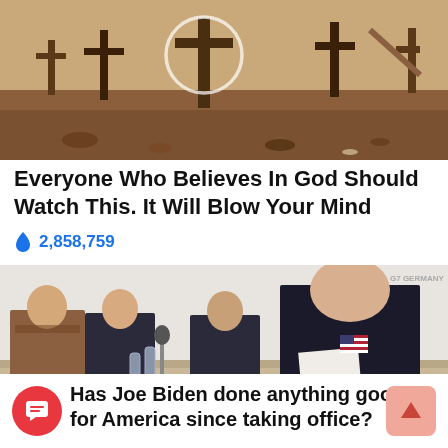[Figure (photo): Cemetery with wooden crosses in a dry, dusty outdoor setting with a circular overlay highlight]
Everyone Who Believes In God Should Watch This. It Will Blow Your Mind
🔥 2,858,759
[Figure (photo): Joe Biden seated at a meeting table with a United States nameplate, reviewing papers with an American flag, other officials seated behind him; G7 Germany text visible in background]
Has Joe Biden done anything good for America since taking office?